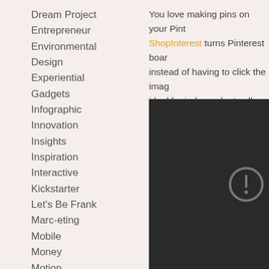Dream Project
Entrepreneur
Environmental
Design
Experiential
Gadgets
Infographic
Innovation
Insights
Inspiration
Interactive
Kickstarter
Let's Be Frank
Marc-eting
Mobile
Money
Motion
Movies
You love making pins on your Pint... ShopInterest turns Pinterest boar... instead of having to click the imag... ideal for independent sellers. Che...
[Figure (screenshot): Dark/black screenshot area with an error/warning icon (circle with exclamation mark) visible on the right side]